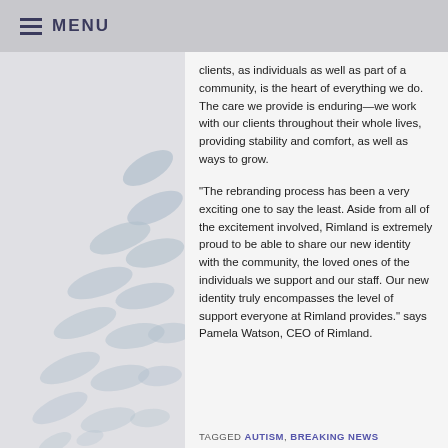MENU
[Figure (illustration): Decorative leaf/petal shapes in light blue-gray on a gray background panel on the left side of the page.]
clients, as individuals as well as part of a community, is the heart of everything we do. The care we provide is enduring—we work with our clients throughout their whole lives, providing stability and comfort, as well as ways to grow.
“The rebranding process has been a very exciting one to say the least. Aside from all of the excitement involved, Rimland is extremely proud to be able to share our new identity with the community, the loved ones of the individuals we support and our staff. Our new identity truly encompasses the level of support everyone at Rimland provides.”  says Pamela Watson, CEO of Rimland.
TAGGED AUTISM, BREAKING NEWS